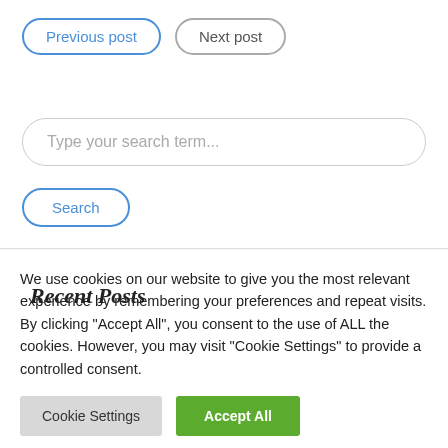Previous post
Next post
Type your search term...
Search
Recent Posts
We use cookies on our website to give you the most relevant experience by remembering your preferences and repeat visits. By clicking "Accept All", you consent to the use of ALL the cookies. However, you may visit "Cookie Settings" to provide a controlled consent.
Cookie Settings
Accept All